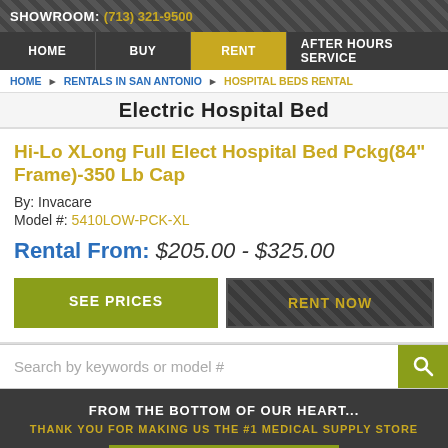SHOWROOM: (713) 321-9500
HOME | BUY | RENT | AFTER HOURS SERVICE
HOME ▶ RENTALS IN SAN ANTONIO ▶ HOSPITAL BEDS RENTAL
Electric Hospital Bed
Hi-Lo XLong Full Elect Hospital Bed Pckg(84" Frame)-350 Lb Cap
By: Invacare
Model #: 5410LOW-PCK-XL
Rental From: $205.00 - $325.00
SEE PRICES | RENT NOW
Search by keywords or model #
FROM THE BOTTOM OF OUR HEART...
THANK YOU FOR MAKING US THE #1 MEDICAL SUPPLY STORE
(713) 695-4939